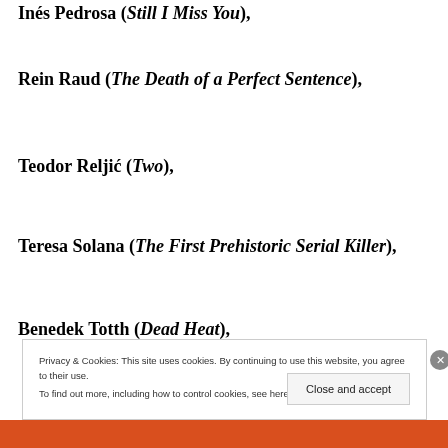Inés Pedrosa (Still I Miss You),
Rein Raud (The Death of a Perfect Sentence),
Teodor Reljić (Two),
Teresa Solana (The First Prehistoric Serial Killer),
Benedek Totth (Dead Heat),
Privacy & Cookies: This site uses cookies. By continuing to use this website, you agree to their use. To find out more, including how to control cookies, see here: Cookie Policy